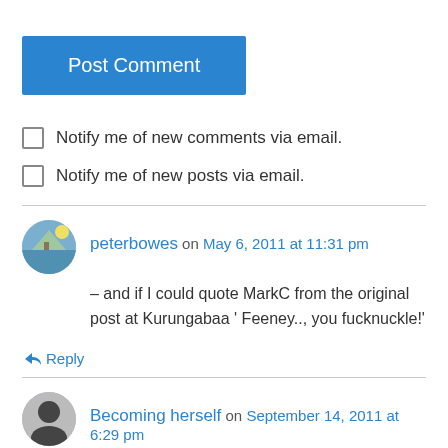[Figure (other): Blue 'Post Comment' button]
Notify me of new comments via email.
Notify me of new posts via email.
peterbowes on May 6, 2011 at 11:31 pm
– and if I could quote MarkC from the original post at Kurungabaa ' Feeney.., you fucknuckle!'
↳ Reply
Becoming herself on September 14, 2011 at 6:29 pm
I feel as if I'm reading a novel – everything